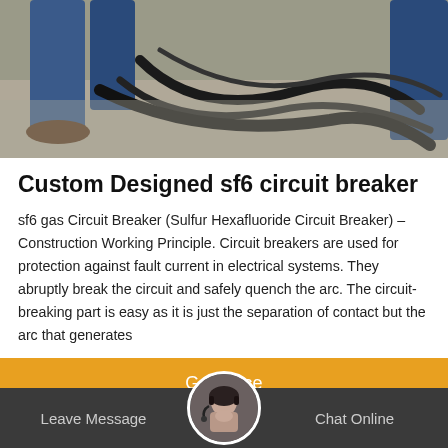[Figure (photo): Photo showing a person's legs in blue jeans and brown shoes standing on a gray concrete floor with black cables/hoses, related to SF6 circuit breaker equipment.]
Custom Designed sf6 circuit breaker
sf6 gas Circuit Breaker (Sulfur Hexafluoride Circuit Breaker) – Construction Working Principle. Circuit breakers are used for protection against fault current in electrical systems. They abruptly break the circuit and safely quench the arc. The circuit-breaking part is easy as it is just the separation of contact but the arc that generates
Get Price
Leave Message   Chat Online